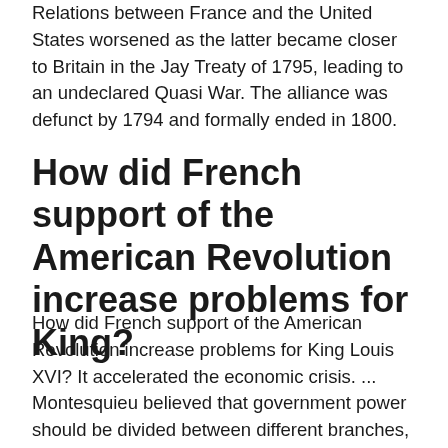Relations between France and the United States worsened as the latter became closer to Britain in the Jay Treaty of 1795, leading to an undeclared Quasi War. The alliance was defunct by 1794 and formally ended in 1800.
How did French support of the American Revolution increase problems for King?
How did French support of the American Revolution increase problems for King Louis XVI? It accelerated the economic crisis. ... Montesquieu believed that government power should be divided between different branches, much like the executive, legislative, and judicial branches in the United States.